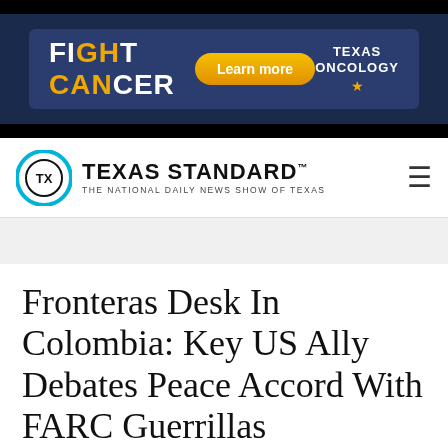[Figure (other): Texas Oncology advertisement banner with text FIGHT CANCER, Learn more button, and Texas Oncology logo with star]
[Figure (logo): Texas Standard logo — circular icon with Texas outline and the text TEXAS STANDARD THE NATIONAL DAILY NEWS SHOW OF TEXAS]
Fronteras Desk In Colombia: Key US Ally Debates Peace Accord With FARC Guerrillas
“There’s still narcotics. But knowing that there’s no guerrillas is a really big improvement.”